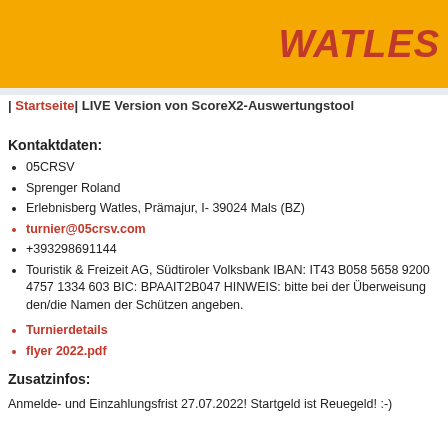WATLES
| Startseite| LIVE Version von ScoreX2-Auswertungstool
Kontaktdaten:
05CRSV
Sprenger Roland
Erlebnisberg Watles, Prämajur, I- 39024 Mals (BZ)
turnier@05crsv.com
+393298691144
Touristik & Freizeit AG, Südtiroler Volksbank IBAN: IT43 B058 5658 9200 4757 1334 603 BIC: BPAAIT2B047 HINWEIS: bitte bei der Überweisung den/die Namen der Schützen angeben.
Turnierdetails
flyer 2022.pdf
Zusatzinfos:
Anmelde- und Einzahlungsfrist 27.07.2022! Startgeld ist Reuegeld! :-)